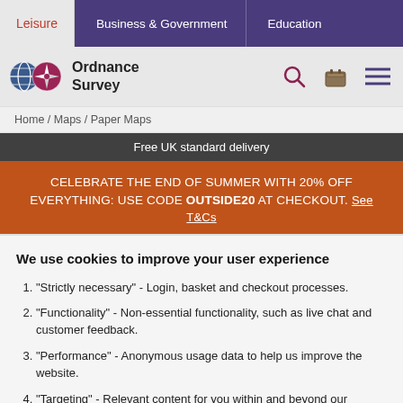Leisure | Business & Government | Education
[Figure (logo): Ordnance Survey logo with globe and compass rose icons, and text 'Ordnance Survey']
Home / Maps / Paper Maps
Free UK standard delivery
CELEBRATE THE END OF SUMMER WITH 20% OFF EVERYTHING: USE CODE OUTSIDE20 AT CHECKOUT. See T&Cs
We use cookies to improve your user experience
"Strictly necessary" - Login, basket and checkout processes.
"Functionality" - Non-essential functionality, such as live chat and customer feedback.
"Performance" - Anonymous usage data to help us improve the website.
"Targeting" - Relevant content for you within and beyond our